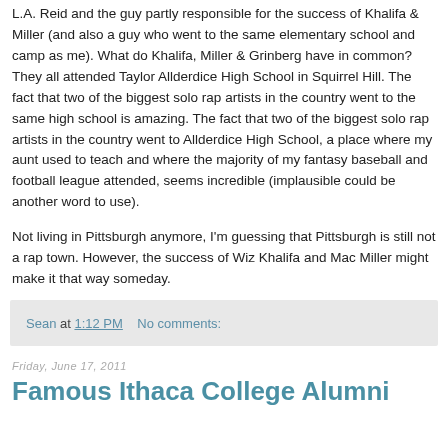L.A. Reid and the guy partly responsible for the success of Khalifa & Miller (and also a guy who went to the same elementary school and camp as me). What do Khalifa, Miller & Grinberg have in common? They all attended Taylor Allderdice High School in Squirrel Hill. The fact that two of the biggest solo rap artists in the country went to the same high school is amazing. The fact that two of the biggest solo rap artists in the country went to Allderdice High School, a place where my aunt used to teach and where the majority of my fantasy baseball and football league attended, seems incredible (implausible could be another word to use).
Not living in Pittsburgh anymore, I'm guessing that Pittsburgh is still not a rap town. However, the success of Wiz Khalifa and Mac Miller might make it that way someday.
Sean at 1:12 PM    No comments:
Friday, June 17, 2011
Famous Ithaca College Alumni